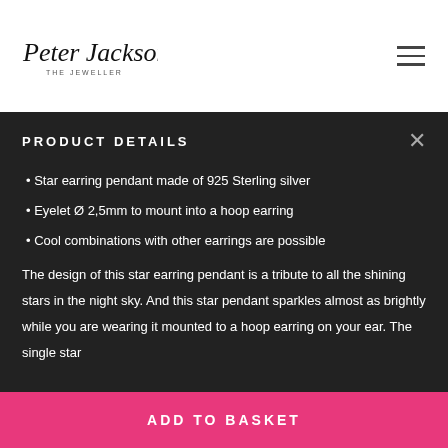Peter Jackson The Jeweller
PRODUCT DETAILS
Star earring pendant made of 925 Sterling silver
Eyelet Ø 2,5mm to mount into a hoop earring
Cool combinations with other earrings are possible
The design of this star earring pendant is a tribute to all the shining stars in the night sky. And this star pendant sparkles almost as brightly while you are wearing it mounted to a hoop earring on your ear. The single star
ADD TO BASKET